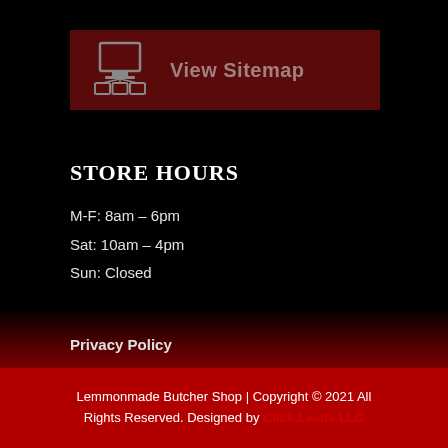[Figure (screenshot): View Sitemap button with network/sitemap icon on dark red background]
STORE HOURS
M-F: 8am – 6pm
Sat: 10am – 4pm
Sun: Closed
Privacy Policy
Terms and Conditions
Lemmonmade Butcher Shop | Copyright © 2021 All Rights Reserved. Designed by Click Leads LLC